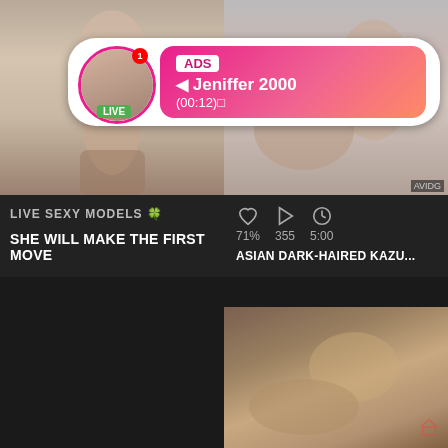[Figure (screenshot): Adult video thumbnail grid with ad overlay. Top-left cell shows nude female figure with title 'MORNING ROD GARGLED B...'. Top-right cell shows adult content with title 'GIRLSWAY STACKED ANGEL...'. An ad overlay appears at top showing profile picture with LIVE badge, name 'Jeniffer 2000', time '(00:12)'. Bottom-left dark panel shows 'LIVE SEXY MODELS' and 'SHE WILL MAKE THE FIRST MOVE'. Bottom-right panel shows stats (heart 71%, play 355, clock 5:00) and title 'ASIAN DARK-HAIRED KAZU...'. Bottom-right second row shows another video thumbnail.]